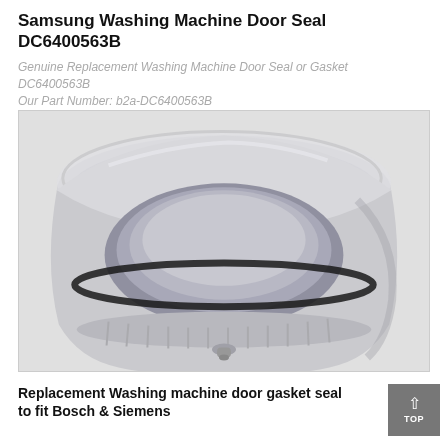Samsung Washing Machine Door Seal DC6400563B
Genuine Replacement Washing Machine Door Seal or Gasket DC6400563B
Our Part Number: b2a-DC6400563B
54.00€
[Figure (photo): A grey rubber washing machine door seal/gasket (part DC6400563B), shown in a circular ring shape with ribbed edges, viewed from a slight angle. The seal has a distinctive groove and a small tube/drain port visible at the bottom.]
Replacement Washing machine door gasket seal to fit Bosch & Siemens